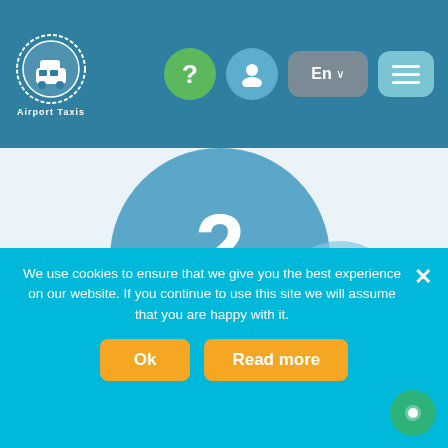[Figure (logo): Airport Taxis logo with taxi icon inside a wreath circle, white on teal header]
[Figure (screenshot): Navigation header with question mark button (green), person icon (teal), En language selector (gray), and hamburger menu (light teal)]
[Figure (infographic): Step 2 bubble illustration - large blue circle with '2' and 'step' text, surrounded by smaller blue circles on light blue background]
The shown price is all in. Waiting time, parking, VAT. Click on Book now in case if
We use cookies to ensure that we give you the best experience on our website. If you continue to use this site we will assume that you are happy with it.
Ok
Read more